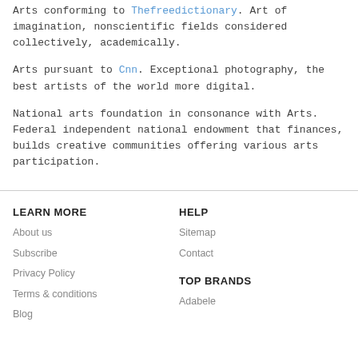Arts conforming to Thefreedictionary. Art of imagination, nonscientific fields considered collectively, academically.
Arts pursuant to Cnn. Exceptional photography, the best artists of the world more digital.
National arts foundation in consonance with Arts. Federal independent national endowment that finances, builds creative communities offering various arts participation.
LEARN MORE
HELP
About us
Sitemap
Subscribe
Contact
Privacy Policy
TOP BRANDS
Terms & conditions
Blog
Adabele